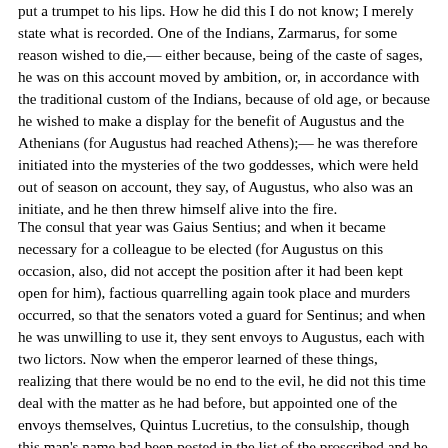put a trumpet to his lips. How he did this I do not know; I merely state what is recorded. One of the Indians, Zarmarus, for some reason wished to die,— either because, being of the caste of sages, he was on this account moved by ambition, or, in accordance with the traditional custom of the Indians, because of old age, or because he wished to make a display for the benefit of Augustus and the Athenians (for Augustus had reached Athens);— he was therefore initiated into the mysteries of the two goddesses, which were held out of season on account, they say, of Augustus, who also was an initiate, and he then threw himself alive into the fire.
The consul that year was Gaius Sentius; and when it became necessary for a colleague to be elected (for Augustus on this occasion, also, did not accept the position after it had been kept open for him), factious quarrelling again took place and murders occurred, so that the senators voted a guard for Sentinus; and when he was unwilling to use it, they sent envoys to Augustus, each with two lictors. Now when the emperor learned of these things, realizing that there would be no end to the evil, he did not this time deal with the matter as he had before, but appointed one of the envoys themselves, Quintus Lucretius, to the consulship, though this man's name had been posted in the list of the proscribed and he hastened to Rome himself. For this and other things he had done while absent from the city many honours of all sorts were voted him, none of which he would accept, save the founding on altar to Fortuna Redux (for this was the name they gave to her), and the